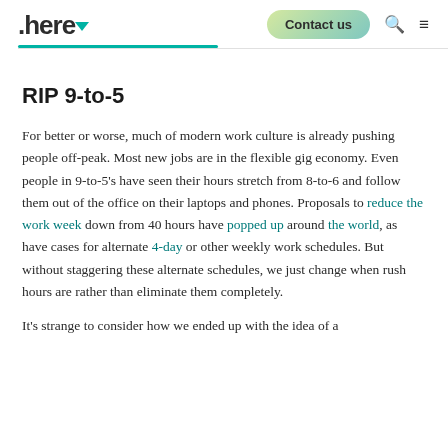.here | Contact us
RIP 9-to-5
For better or worse, much of modern work culture is already pushing people off-peak. Most new jobs are in the flexible gig economy. Even people in 9-to-5's have seen their hours stretch from 8-to-6 and follow them out of the office on their laptops and phones. Proposals to reduce the work week down from 40 hours have popped up around the world, as have cases for alternate 4-day or other weekly work schedules. But without staggering these alternate schedules, we just change when rush hours are rather than eliminate them completely.
It's strange to consider how we ended up with the idea of a